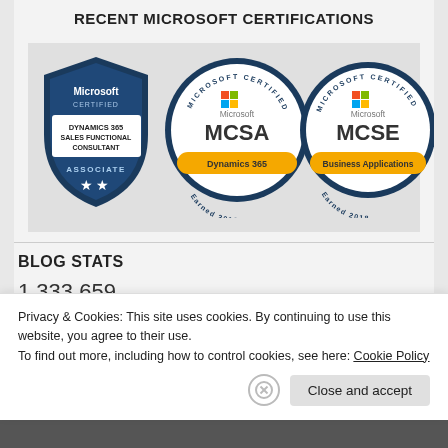RECENT MICROSOFT CERTIFICATIONS
[Figure (illustration): Three Microsoft certification badges: (1) Microsoft Certified Dynamics 365 Sales Functional Consultant Associate shield badge with two stars, (2) Microsoft Certified Professional MCSA Dynamics 365 circular badge Earned 2018, (3) Microsoft Certified Professional MCSE Business Applications circular badge Earned 2018]
BLOG STATS
1,333,659
Privacy & Cookies: This site uses cookies. By continuing to use this website, you agree to their use.
To find out more, including how to control cookies, see here: Cookie Policy